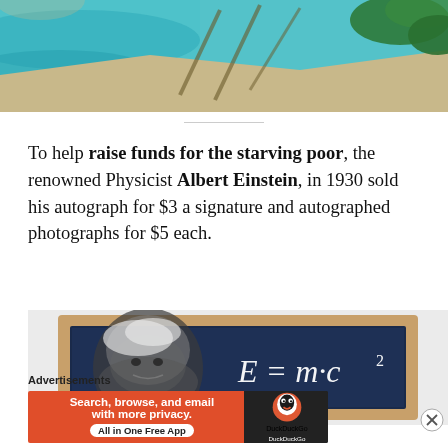[Figure (photo): Aerial view of a tropical beach with turquoise water, sandy shore, and palm trees casting shadows]
To help raise funds for the starving poor, the renowned Physicist Albert Einstein, in 1930 sold his autograph for $3 a signature and autographed photographs for $5 each.
[Figure (photo): A chalkboard in a wooden frame showing Einstein's face on the left and the equation E = m·c² written in chalk on the right]
Advertisements
[Figure (screenshot): DuckDuckGo advertisement banner: 'Search, browse, and email with more privacy. All in One Free App' with DuckDuckGo logo on the right]